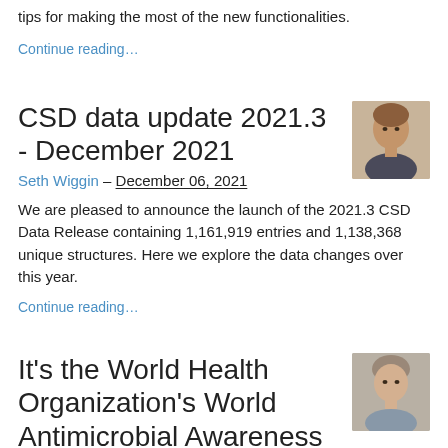tips for making the most of the new functionalities.
Continue reading…
CSD data update 2021.3 - December 2021
Seth Wiggin – December 06, 2021
[Figure (photo): Headshot photo of Seth Wiggin]
We are pleased to announce the launch of the 2021.3 CSD Data Release containing 1,161,919 entries and 1,138,368 unique structures. Here we explore the data changes over this year.
Continue reading…
It's the World Health Organization's World Antimicrobial Awareness Week
Ashley Moreno – November 17, 2021
[Figure (photo): Headshot photo of Ashley Moreno]
Every year, the World Health Organization (WHO) celebrates World